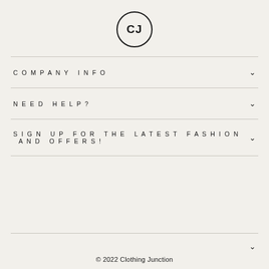[Figure (logo): CJ logo: letters CJ inside a circle, bold sans-serif]
COMPANY INFO
NEED HELP?
SIGN UP FOR THE LATEST FASHION AND OFFERS!
© 2022 Clothing Junction